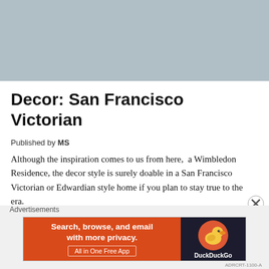[Figure (photo): Interior photo of a stylish living room with teal velvet sofa, two mauve/purple accent chairs, a round dark coffee table, fireplace, wicker basket, and grey cabinet on the right.]
Decor: San Francisco Victorian
Published by MS
Although the inspiration comes to us from here,  a Wimbledon Residence, the decor style is surely doable in a San Francisco Victorian or Edwardian style home if you plan to stay true to the era.
[Figure (screenshot): Advertisement banner: DuckDuckGo ad reading 'Search, browse, and email with more privacy. All in One Free App' on orange background with DuckDuckGo logo on dark background.]